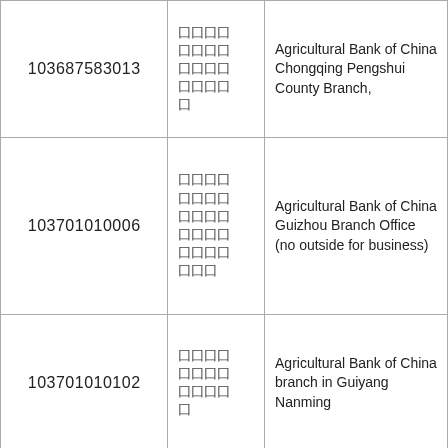| Code | Chinese Name | English Name |
| --- | --- | --- |
| 103687583013 | 农业银行重庆彭水县支行 | Agricultural Bank of China Chongqing Pengshui County Branch, |
| 103701010006 | 农业银行贵州省分行营业部 | Agricultural Bank of China Guizhou Branch Office (no outside for business) |
| 103701010102 | 农业银行贵阳南明支行 | Agricultural Bank of China branch in Guiyang Nanming |
|  | 农业银行 |  |